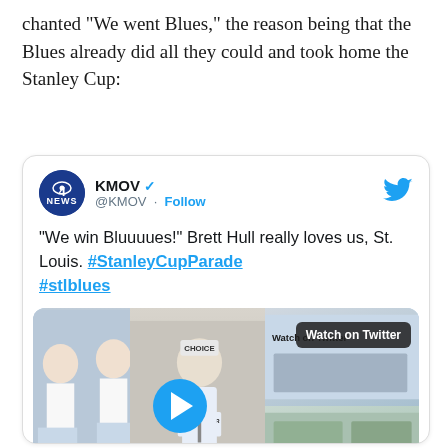chanted "We went Blues," the reason being that the Blues already did all they could and took home the Stanley Cup:
[Figure (screenshot): Embedded tweet from KMOV (@KMOV) with verified checkmark and Follow button. Tweet text: '"We win Bluuuues!" Brett Hull really loves us, St. Louis. #StanleyCupParade #stlblues'. Includes a video thumbnail showing Brett Hull at a podium with cheerleaders and a crowd scene with 'Watch on Twitter' badge.]